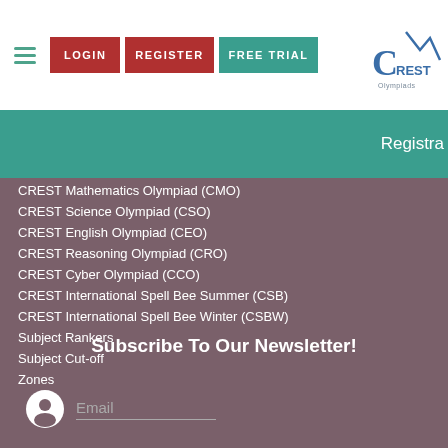LOGIN | REGISTER | FREE TRIAL | CREST Olympiads logo
Registra
CREST Mathematics Olympiad (CMO)
CREST Science Olympiad (CSO)
CREST English Olympiad (CEO)
CREST Reasoning Olympiad (CRO)
CREST Cyber Olympiad (CCO)
CREST International Spell Bee Summer (CSB)
CREST International Spell Bee Winter (CSBW)
Subject Rankers
Subject Cut-off
Zones
Subscribe To Our Newsletter!
Email